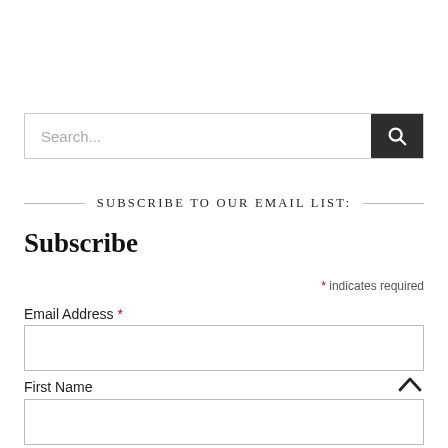[Figure (other): Search bar with text input placeholder 'Search...' and dark search button with magnifying glass icon]
SUBSCRIBE TO OUR EMAIL LIST:
Subscribe
* indicates required
Email Address *
First Name
Last Name